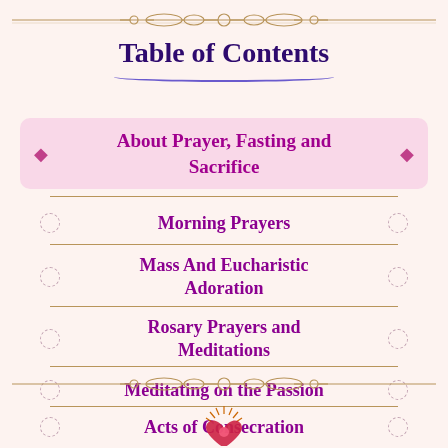[Figure (illustration): Decorative ornamental border at the top of the page in golden/brown color with scrollwork and diamond shapes]
Table of Contents
About Prayer, Fasting and Sacrifice
Morning Prayers
Mass And Eucharistic Adoration
Rosary Prayers and Meditations
Meditating on the Passion
Acts of Consecration
[Figure (illustration): Decorative ornamental border at the bottom of the page in golden/brown color with scrollwork]
[Figure (logo): Small religious logo/icon with rays at bottom center]